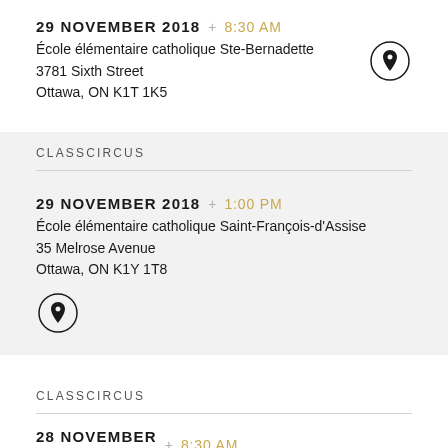29 NOVEMBER 2018 + 8:30 AM
École élémentaire catholique Ste-Bernadette
3781 Sixth Street
Ottawa, ON K1T 1K5
CLASSCIRCUS
29 NOVEMBER 2018 + 1:00 PM
École élémentaire catholique Saint-François-d'Assise
35 Melrose Avenue
Ottawa, ON K1Y 1T8
CLASSCIRCUS
28 NOVEMBER 2018 + 8:30 AM